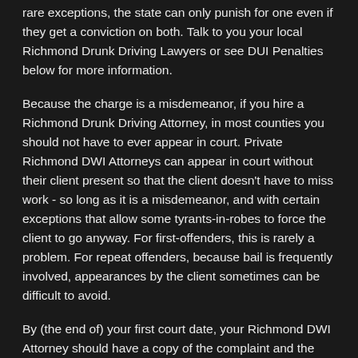rare exceptions, the state can only punish for one even if they get a conviction on both. Talk to you your local Richmond Drunk Driving Lawyers or see DUI Penalties below for more information.
Because the charge is a misdemeanor, if you hire a Richmond Drunk Driving Attorney, in most counties you should not have to ever appear in court. Private Richmond DWI Attorneys can appear in court without their client present so that the client doesn't have to miss work - so long as it is a misdemeanor, and with certain exceptions that allow some tyrants-in-robes to force the client to go anyway. For first-offenders, this is rarely a problem. For repeat offenders, because bail is frequently involved, appearances by the client sometimes can be difficult to avoid.
By (the end of) your first court date, your Richmond DWI Attorney should have a copy of the complaint and the police report. After the necessary initial information is obtained, the case will be categorized as one of a few types of cases. At